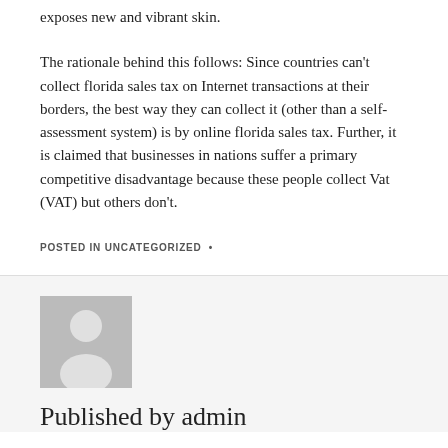exposes new and vibrant skin.
The rationale behind this follows: Since countries can't collect florida sales tax on Internet transactions at their borders, the best way they can collect it (other than a self-assessment system) is by online florida sales tax. Further, it is claimed that businesses in nations suffer a primary competitive disadvantage because these people collect Vat (VAT) but others don't.
POSTED IN UNCATEGORIZED •
[Figure (illustration): Generic user avatar placeholder image — grey square with a white silhouette of a person (head and shoulders).]
Published by admin